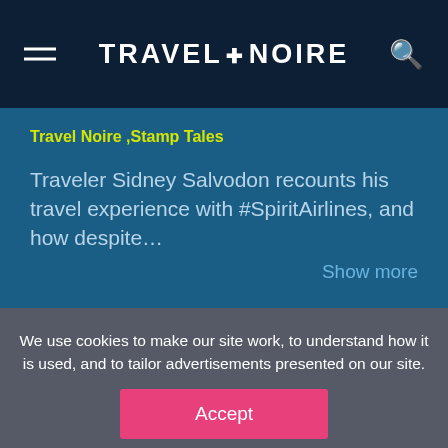TRAVEL + NOIRE
Travel Noire ,Stamp Tales
Traveler Sidney Salvodon recounts his travel experience with #SpiritAirlines, and how despite…
Show more
We use cookies to make our site work, to understand how it is used, and to tailor advertisements presented on our site. By clicking “Accept”, you agree to us doing so. You can read more by clicking on our privacy policy here.
Accept